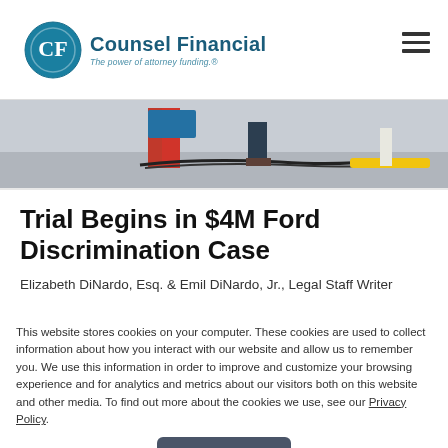Counsel Financial — The power of attorney funding.
[Figure (photo): Partial view of an industrial/warehouse floor scene with equipment, cables, and a person standing, cropped to a horizontal strip.]
Trial Begins in $4M Ford Discrimination Case
Elizabeth DiNardo, Esq. & Emil DiNardo, Jr., Legal Staff Writer
This website stores cookies on your computer. These cookies are used to collect information about how you interact with our website and allow us to remember you. We use this information in order to improve and customize your browsing experience and for analytics and metrics about our visitors both on this website and other media. To find out more about the cookies we use, see our Privacy Policy.
Accept